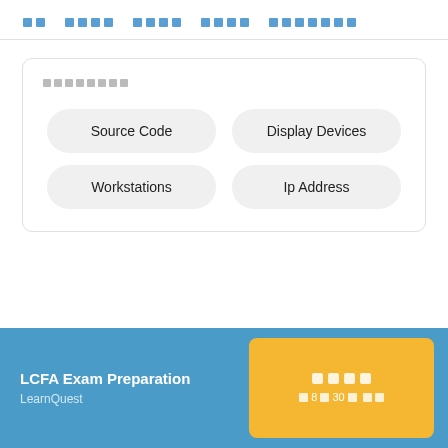□□  □□□□  □□□□  □□□□  □□□□□□□
□□□□□□□□
Source Code
Display Devices
Workstations
Ip Address
LCFA Exam Preparation
LearnQuest
□□□□
□ 8□30□ □□